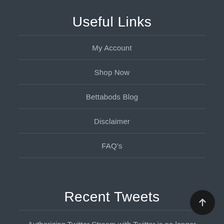Useful Links
My Account
Shop Now
Bettabods Blog
Disclaimer
FAQ's
Recent Tweets
Authorizing Twitter Stream with Twitter is no longer optional. You need to go to the Twitter Stream Authorization page in the WordPress Admin (under settings) before your tweets can be shown.